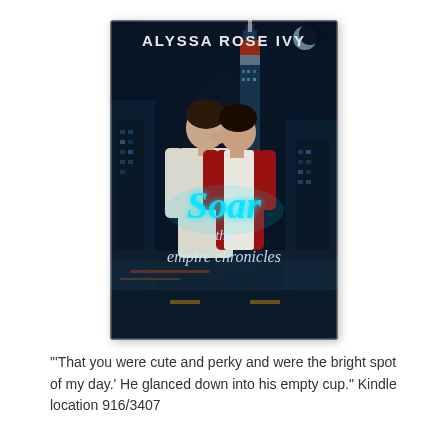[Figure (illustration): Book cover for 'Soar: The Empire Chronicles' by Alyssa Rose Ivy. Dark moody cover showing a young couple in an embrace on a city street at night with the Empire State Building lit up in the background. The title 'Soar' appears in glowing teal cursive text with 'the empire chronicles' below it.]
'"That you were cute and perky and were the bright spot of my day.' He glanced down into his empty cup." Kindle location 916/3407